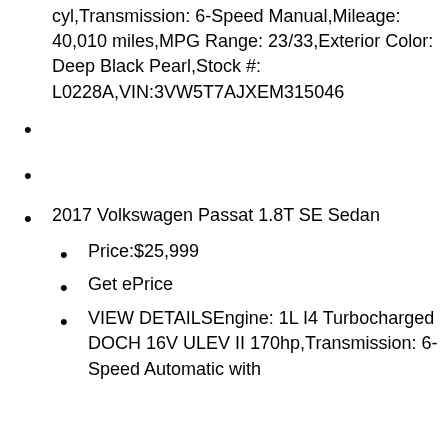cyl,Transmission: 6-Speed Manual,Mileage: 40,010 miles,MPG Range: 23/33,Exterior Color: Deep Black Pearl,Stock #: L0228A,VIN:3VW5T7AJXEM315046
2017 Volkswagen Passat 1.8T SE Sedan
Price:$25,999
Get ePrice
VIEW DETAILSEngine: 1L I4 Turbocharged DOCH 16V ULEV II 170hp,Transmission: 6-Speed Automatic with